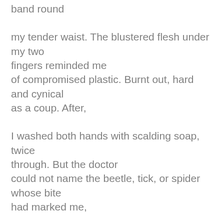band round
my tender waist. The blustered flesh under my two fingers reminded me
of compromised plastic. Burnt out, hard and cynical
as a coup. After,
I washed both hands with scalding soap, twice
through. But the doctor
could not name the beetle, tick, or spider whose bite
had marked me,
in defense of its interest. Pulling up trousers at the
clinic, I felt
for my wallet, heavy in its pocket. Bent groaning to tie
my laces.
Thought of years ago, before the azaleas, before my
marriage, a mild June